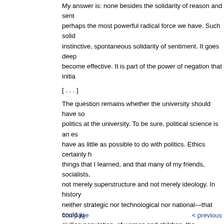My answer is: none besides the solidarity of reason and sent perhaps the most powerful radical force we have. Such solid instinctive, spontaneous solidarity of sentiment. It goes deep become effective. It is part of the power of negation that initia
[ . . . ]
The question remains whether the university should have so politics at the university. To be sure, political science is an es have as little as possible to do with politics. Ethics certainly h things that I learned, and that many of my friends, socialists, not merely superstructure and not merely ideology. In history neither strategic nor technological nor national—that could ju civilian population, of women and children, the systematic de poorest and most defenseless countries in the world—that is that it is hopeless, simply in order to survive as human being others, perhaps only because it could possibly shorten the te deal.
Source: Herbert Marcuse, "Vietnam – Analyse eines Exempe no. 36–37 (July-August 1966), pp. 30-40; reprinted in Wolfga Studentenbewegung. Von der Flaschenpost zum Molotowco Movement. From the Message in the Bottle to the Molotov C
Translation: Allison Brown
first page    < previous